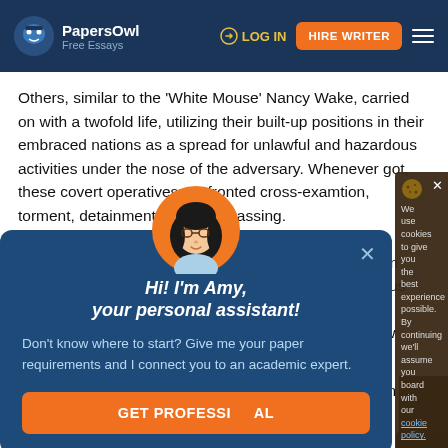PapersOwl Free Essays | LOG IN | HIRE WRITER
Others, similar to the ‘White Mouse’ Nancy Wake, carried on with a twofold life, utilizing their built-up positions in their embraced nations as a spread for unlawful and hazardous activities under the nose of the adversary. Whenever got, these covert operatives confronted cross-examination, torment, detainment and even passing.
[Figure (screenshot): Chat popup with avatar of Amy, personal assistant. Contains text: Hi! I’m Amy, your personal assistant! Don’t know where to start? Give me your paper requirements and I connect you to an academic expert. GET PROFESSIONAL HELP button.]
and foundations, to individuals from ums. The notorious Nazi Germany had served a few cant burglary to ays chasing down operatives one remote
We use cookies to give you the best experience possible. By continuing we’ll assume you board with our cookie policy.